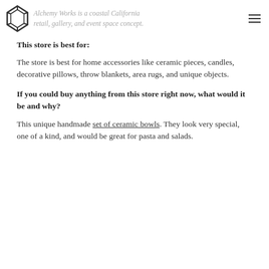Alchemy Works is a coastal California retail, gallery, and event space concept.
This store is best for:
The store is best for home accessories like ceramic pieces, candles, decorative pillows, throw blankets, area rugs, and unique objects.
If you could buy anything from this store right now, what would it be and why?
This unique handmade set of ceramic bowls. They look very special, one of a kind, and would be great for pasta and salads.